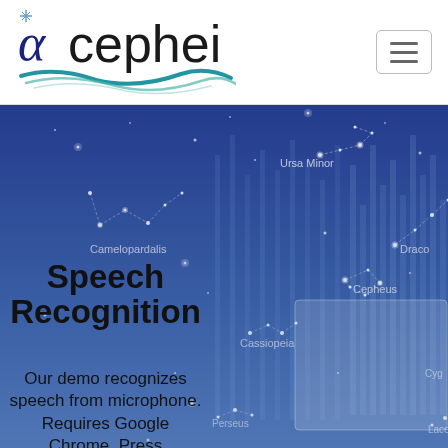[Figure (logo): Alpha Cephei logo with stylized alpha symbol and wave/comet graphic, text reading 'acephei']
[Figure (illustration): Star constellation map background with labels: Ursa Minor, Camelopardalis, Draco, Cepheus, Cassiopeia, Perseus, Lacerta, Cygnus. Blue gradient background with white dots and dashed constellation lines, plus vertical bar chart overlay.]
Speech Recognition
Our demo recognizes speech from microphone. Requires Google Chrome. Press